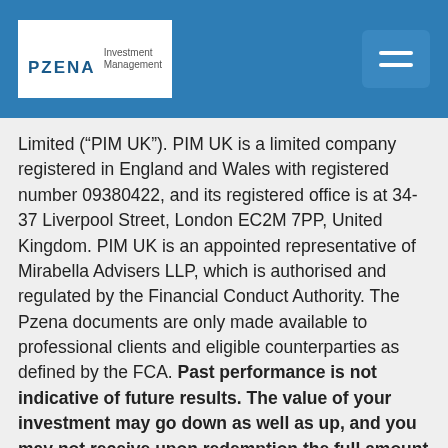PZENA Investment Management
Limited (“PIM UK”). PIM UK is a limited company registered in England and Wales with registered number 09380422, and its registered office is at 34-37 Liverpool Street, London EC2M 7PP, United Kingdom. PIM UK is an appointed representative of Mirabella Advisers LLP, which is authorised and regulated by the Financial Conduct Authority. The Pzena documents are only made available to professional clients and eligible counterparties as defined by the FCA. Past performance is not indicative of future results. The value of your investment may go down as well as up, and you may not receive upon redemption the full amount of your original investment. The views